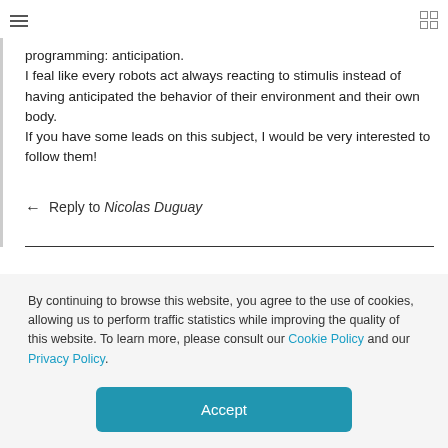programming: anticipation.
I feal like every robots act always reacting to stimulis instead of having anticipated the behavior of their environment and their own body.
If you have some leads on this subject, I would be very interested to follow them!
← Reply to Nicolas Duguay
By continuing to browse this website, you agree to the use of cookies, allowing us to perform traffic statistics while improving the quality of this website. To learn more, please consult our Cookie Policy and our Privacy Policy.
Accept